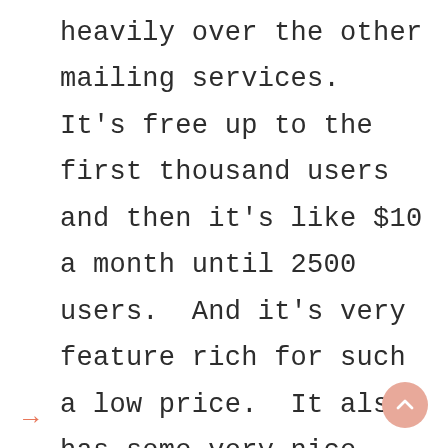heavily over the other mailing services.  It's free up to the first thousand users and then it's like $10 a month until 2500 users.  And it's very feature rich for such a low price.  It also has some very nice options for pretty newsletter templates, automations, quizzes, timers.  I also have experience with Active Campaign.  I don't recommend Aweber or Mailchimp so I don't choose to offer them.